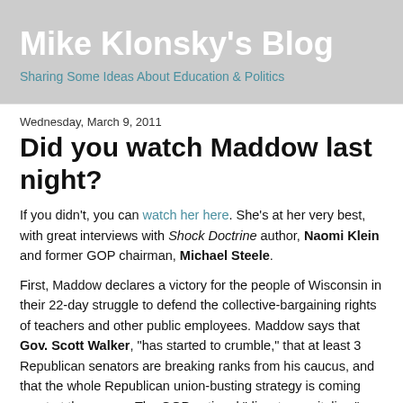Mike Klonsky's Blog
Sharing Some Ideas About Education & Politics
Wednesday, March 9, 2011
Did you watch Maddow last night?
If you didn't, you can watch her here. She's at her very best, with great interviews with Shock Doctrine author, Naomi Klein and former GOP chairman, Michael Steele.
First, Maddow declares a victory for the people of Wisconsin in their 22-day struggle to defend the collective-bargaining rights of teachers and other public employees. Maddow says that Gov. Scott Walker, "has started to crumble," that at least 3 Republican senators are breaking ranks from his caucus, and that the whole Republican union-busting strategy is coming apart at the seams. The GOP national "disaster capitalism" strategy of using the budget crisis as an